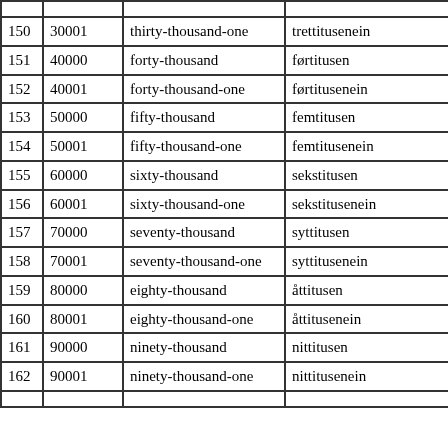|  |  |  |  |
| --- | --- | --- | --- |
| 150 | 30001 | thirty-thousand-one | trettitusenein |
| 151 | 40000 | forty-thousand | førtitusen |
| 152 | 40001 | forty-thousand-one | førtitusenein |
| 153 | 50000 | fifty-thousand | femtitusen |
| 154 | 50001 | fifty-thousand-one | femtitusenein |
| 155 | 60000 | sixty-thousand | sekstitusen |
| 156 | 60001 | sixty-thousand-one | sekstitusenein |
| 157 | 70000 | seventy-thousand | syttitusen |
| 158 | 70001 | seventy-thousand-one | syttitusenein |
| 159 | 80000 | eighty-thousand | åttitusen |
| 160 | 80001 | eighty-thousand-one | åttitusenein |
| 161 | 90000 | ninety-thousand | nittitusen |
| 162 | 90001 | ninety-thousand-one | nittitusenein |